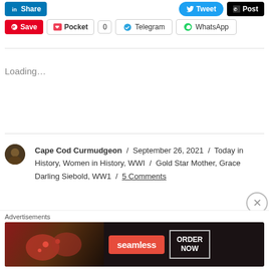[Figure (screenshot): Social sharing buttons row 1: LinkedIn Share button (blue), Tweet button (blue, rounded), Post button (black)]
[Figure (screenshot): Social sharing buttons row 2: Pinterest Save (red), Pocket button with count 0, Telegram button, WhatsApp button]
Loading...
Cape Cod Curmudgeon / September 26, 2021 / Today in History, Women in History, WWI / Gold Star Mother, Grace Darling Siebold, WW1 / 5 Comments
September 26, 1965 Rocky
[Figure (screenshot): Advertisements banner: Seamless pizza delivery ad with 'ORDER NOW' button on dark background]